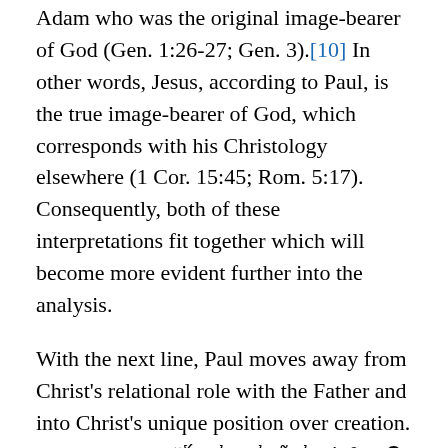Adam who was the original image-bearer of God (Gen. 1:26-27; Gen. 3).[10] In other words, Jesus, according to Paul, is the true image-bearer of God, which corresponds with his Christology elsewhere (1 Cor. 15:45; Rom. 5:17). Consequently, both of these interpretations fit together which will become more evident further into the analysis.
With the next line, Paul moves away from Christ’s relational role with the Father and into Christ’s unique position over creation. The line reads, “ὅτι ἐν αὐτῷ ἐκτίσθη τὰ πάντα” (1:16). For by him all (things) were created. The grammar here is extremely vital in the translation of Paul’s Christology. Notice that ἐκτίσθη (were created) is in the passive aorist (θη) and not active, which signifies that God the Father is the